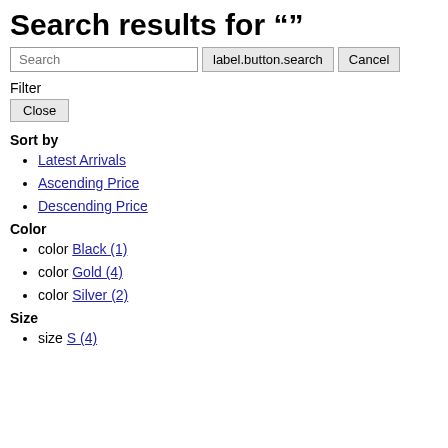Search results for ""
Search  label.button.search  Cancel
Filter
Close
Sort by
Latest Arrivals
Ascending Price
Descending Price
Color
color Black (1)
color Gold (4)
color Silver (2)
Size
size S (4)